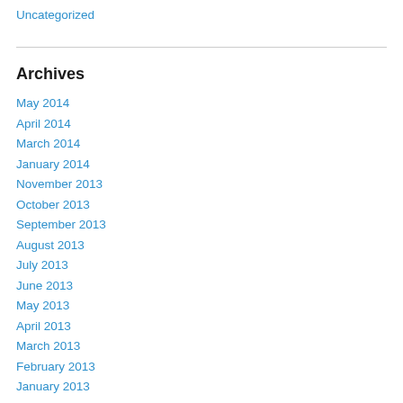Uncategorized
Archives
May 2014
April 2014
March 2014
January 2014
November 2013
October 2013
September 2013
August 2013
July 2013
June 2013
May 2013
April 2013
March 2013
February 2013
January 2013